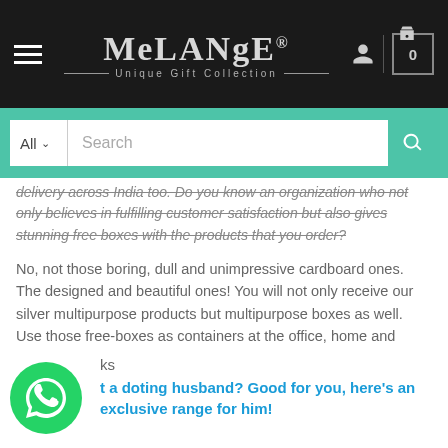MeLANgE® Unique Gift Collection — navigation header with hamburger menu, logo, user icon, cart (0)
All  Search
delivery across India too. Do you know an organization who not only believes in fulfilling customer satisfaction but also gives stunning free boxes with the products that you order?
No, not those boring, dull and unimpressive cardboard ones. The designed and beautiful ones! You will not only receive our silver multipurpose products but multipurpose boxes as well. Use those free-boxes as containers at the office, home and décor or as a container to give your precious gifts to your special ones, it's entirely up to you!
Exciting, right? What are you waiting for? Get to MeLANgE's site now.
ks
t a doting husband? Good for you, here's an exclusive range for him!